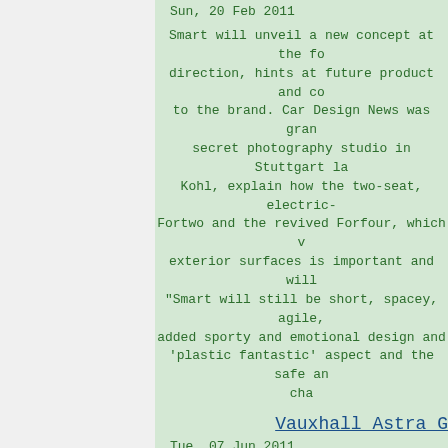Sun, 20 Feb 2011
Smart will unveil a new concept at the fo direction, hints at future product and co to the brand. Car Design News was gran secret photography studio in Stuttgart la Kohl, explain how the two-seat, electric- Fortwo and the revived Forfour, which v exterior surfaces is important and will "Smart will still be short, spacey, agile, added sporty and emotional design and 'plastic fantastic' aspect and the safe an cha
Vauxhall Astra G
Tue, 07 Jun 2011
Vauxhall Astra GTC - looks good Vauxha 2012 Vauxhall Astra GTC. As has Opel fo Euro-hot-hatch, designed to take on t